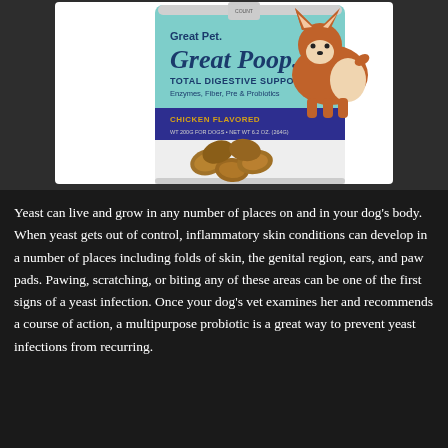[Figure (photo): Product photo of 'Great Pet. Great Poop.' dog supplement container with teal label, navy band reading 'CHICKEN FLAVORED', and a cartoon corgi illustration. Several brown chew treats are displayed in front of the container.]
Yeast can live and grow in any number of places on and in your dog’s body. When yeast gets out of control, inflammatory skin conditions can develop in a number of places including folds of skin, the genital region, ears, and paw pads. Pawing, scratching, or biting any of these areas can be one of the first signs of a yeast infection. Once your dog’s vet examines her and recommends a course of action, a multipurpose probiotic is a great way to prevent yeast infections from recurring.